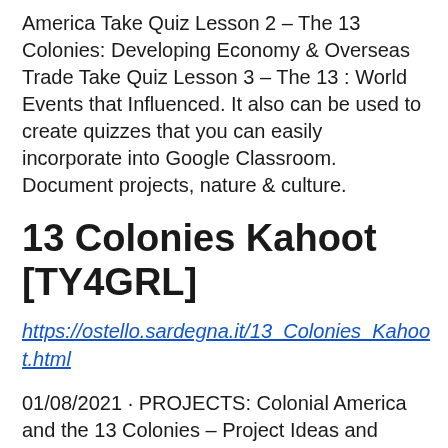America Take Quiz Lesson 2 – The 13 Colonies: Developing Economy & Overseas Trade Take Quiz Lesson 3 – The 13 : World Events that Influenced. It also can be used to create quizzes that you can easily incorporate into Google Classroom. Document projects, nature & culture.
13 Colonies Kahoot [TY4GRL]
https://ostello.sardegna.it/13_Colonies_Kahoot.html
01/08/2021 · PROJECTS: Colonial America and the 13 Colonies – Project Ideas and Classroom Activities. Colonial America & the 13 U. They were a part of the original 13